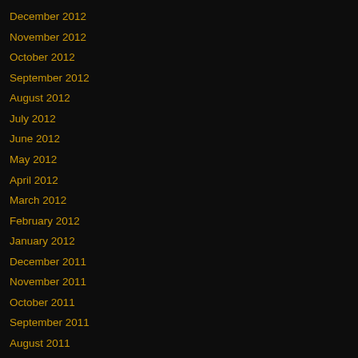December 2012
November 2012
October 2012
September 2012
August 2012
July 2012
June 2012
May 2012
April 2012
March 2012
February 2012
January 2012
December 2011
November 2011
October 2011
September 2011
August 2011
July 2011
June 2011
May 2011
April 2011